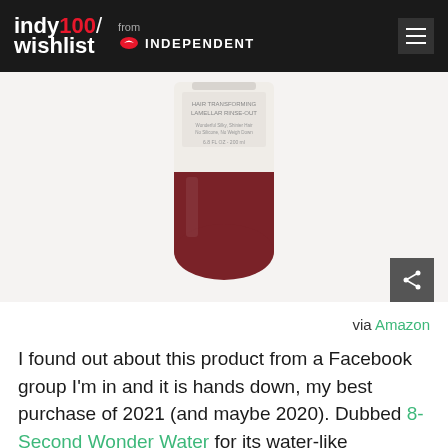indy100/ wishlist from INDEPENDENT
[Figure (photo): Product photo of a hair transforming lamellar rinse-out bottle with dark red/burgundy bottom, partially visible label reading 'HAIR TRANSFORMING LAMELLAR RINSE-OUT Wonderful Silky, Shinier Hair No Silicone, No Weigh Down 6.8 FL OZ - 200 ml']
via Amazon
I found out about this product from a Facebook group I'm in and it is hands down, my best purchase of 2021 (and maybe 2020). Dubbed 8-Second Wonder Water for its water-like consistency and wondrous results, this rinse-out product from L'oreal transforms your hair from tangled to sleek in eight seconds. (No lie.) It uses